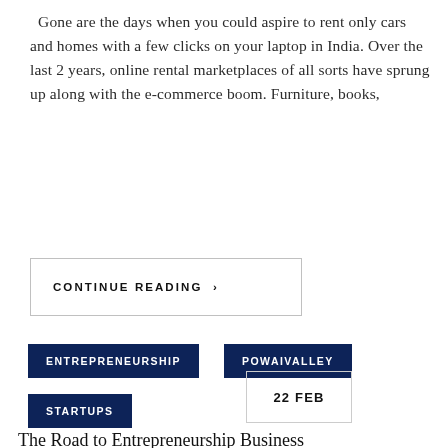Gone are the days when you could aspire to rent only cars and homes with a few clicks on your laptop in India. Over the last 2 years, online rental marketplaces of all sorts have sprung up along with the e-commerce boom. Furniture, books,
CONTINUE READING >
ENTREPRENEURSHIP
POWAIVALLEY
STARTUPS
22 FEB
The Road to Entrepreneurship Business